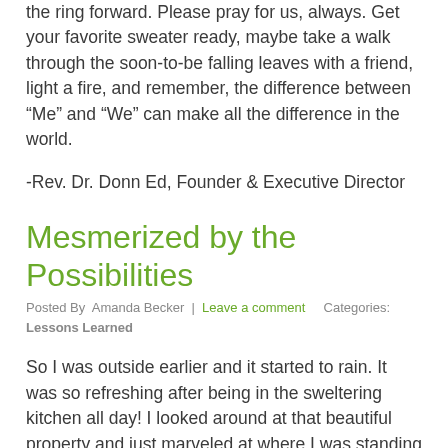the ring forward. Please pray for us, always. Get your favorite sweater ready, maybe take a walk through the soon-to-be falling leaves with a friend, light a fire, and remember, the difference between “Me” and “We” can make all the difference in the world.
-Rev. Dr. Donn Ed, Founder & Executive Director
Mesmerized by the Possibilities
Posted By  Amanda Becker  |  Leave a comment     Categories:  Lessons Learned
So I was outside earlier and it started to rain. It was so refreshing after being in the sweltering kitchen all day! I looked around at that beautiful property and just marveled at where I was standing and how I got to be